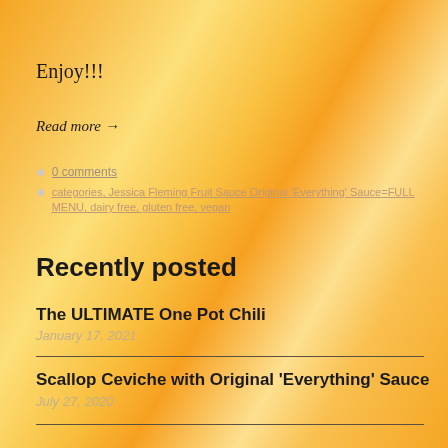Enjoy!!!
Read more →
0 comments
categories, Jessica Fleming Fruit Sauce Original 'Everything' Sauce=FULL MENU, dairy free, gluten free, vegan
Recently posted
The ULTIMATE One Pot Chili
January 17, 2021
Scallop Ceviche with Original 'Everything' Sauce
July 27, 2020